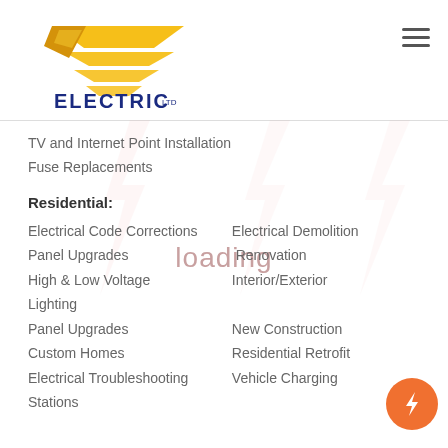[Figure (logo): Gold/yellow winged arrow logo above 'ELECTRIC LTD' text in blue]
TV and Internet Point Installation
Fuse Replacements
Residential:
Electrical Code Corrections
Electrical Demolition
Panel Upgrades
Renovation
High & Low Voltage
Interior/Exterior
Lighting
Panel Upgrades
New Construction
Custom Homes
Residential Retrofit
Electrical Troubleshooting
Vehicle Charging
Stations